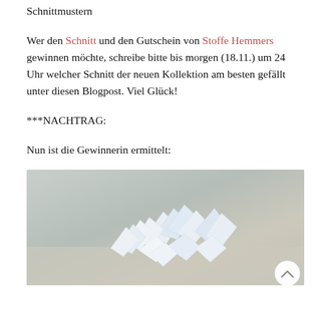Schnittmustern
Wer den Schnitt und den Gutschein von Stoffe Hemmers gewinnen möchte, schreibe bitte bis morgen (18.11.) um 24 Uhr welcher Schnitt der neuen Kollektion am besten gefällt unter diesen Blogpost. Viel Glück!
***NACHTRAG:
Nun ist die Gewinnerin ermittelt:
[Figure (photo): A photo showing folded or crumpled blue and white paper pieces arranged decoratively against a neutral beige/grey background.]